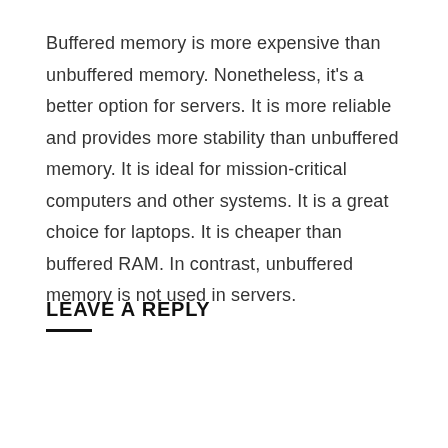Buffered memory is more expensive than unbuffered memory. Nonetheless, it's a better option for servers. It is more reliable and provides more stability than unbuffered memory. It is ideal for mission-critical computers and other systems. It is a great choice for laptops. It is cheaper than buffered RAM. In contrast, unbuffered memory is not used in servers.
LEAVE A REPLY